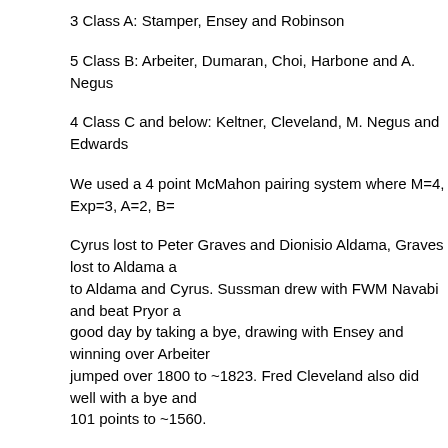3 Class A: Stamper, Ensey and Robinson
5 Class B: Arbeiter, Dumaran, Choi, Harbone and A. Negus
4 Class C and below: Keltner, Cleveland, M. Negus and Edwards
We used a 4 point McMahon pairing system where M=4, Exp=3, A=2, B=
Cyrus lost to Peter Graves and Dionisio Aldama, Graves lost to Aldama a to Aldama and Cyrus. Sussman drew with FWM Navabi and beat Pryor a good day by taking a bye, drawing with Ensey and winning over Arbeiter jumped over 1800 to ~1823. Fred Cleveland also did well with a bye and 101 points to ~1560.
Here were the prize winners:
First Place: Dionisio Aldama (8), $100
Second Place: Cyrus Lakdawala (6), $40
BU2400: Peter Graves (6) and Kyron Griffith (6), $40 each
BU2200: Leonard Sussman (6), $60
BU2000: Bud Stamper (4 1/2), $50
BU1800: Albert Dumaran (4 1/2), $50